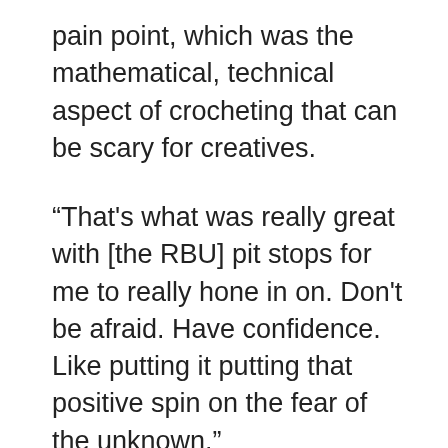pain point, which was the mathematical, technical aspect of crocheting that can be scary for creatives.
“That's what was really great with [the RBU] pit stops for me to really hone in on. Don't be afraid. Have confidence. Like putting it putting that positive spin on the fear of the unknown.”
She used what she learned from identifying her audience’s pain point to lay out the tools they needed to overcome it in her